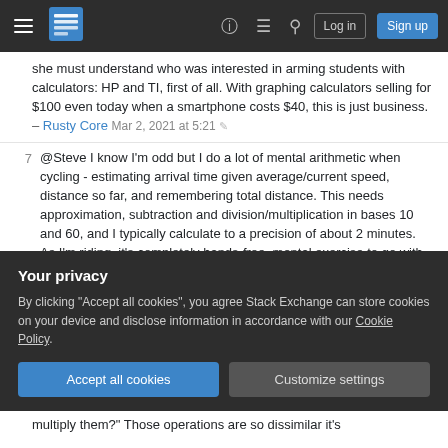Stack Exchange navigation bar with hamburger menu, logo, help, chat, search icons, Log in and Sign up buttons
...she must understand who was interested in arming students with calculators: HP and TI, first of all. With graphing calculators selling for $100 even today when a smartphone costs $40, this is just business. – Rusty Core Mar 2, 2021 at 5:21
7  @Steve I know I'm odd but I do a lot of mental arithmetic when cycling - estimating arrival time given average/current speed, distance so far, and remembering total distance. This needs approximation, subtraction and division/multiplication in bases 10 and 60, and I typically calculate to a precision of about 2 minutes. As I'm riding, it's completely hands-free, mental exercise to go with the physical... – Chris H Mar 2, 2021 at 11:35
Your privacy
By clicking "Accept all cookies", you agree Stack Exchange can store cookies on your device and disclose information in accordance with our Cookie Policy.
Accept all cookies
Customize settings
multiply them?" Those operations are so dissimilar it's